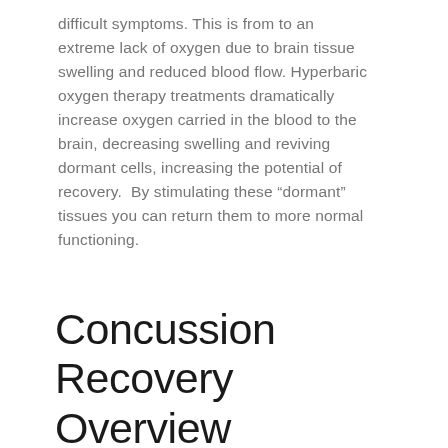difficult symptoms. This is from to an extreme lack of oxygen due to brain tissue swelling and reduced blood flow. Hyperbaric oxygen therapy treatments dramatically increase oxygen carried in the blood to the brain, decreasing swelling and reviving dormant cells, increasing the potential of recovery.  By stimulating these “dormant” tissues you can return them to more normal functioning.
Concussion Recovery Overview